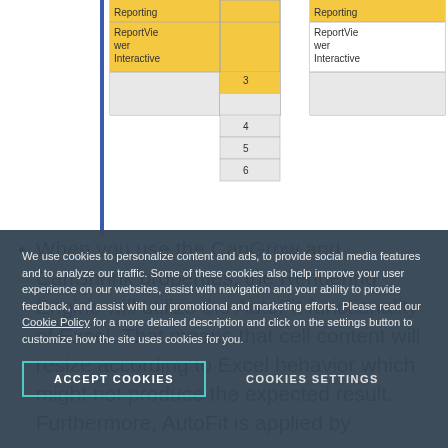[Figure (screenshot): Screenshot of a table showing Reporting, ReportViewer, Interactive rows with numbered rows 3-6, with yellow highlighted cells on left side and white cells on right side.]
When you use the CanGrow and CanShrink properties, the Rendering Engine will utilize the AutoFit functionality of Excel. That means that cell content will resize according to Excel behavior which might not produce the expected result. Furthermore, AutoFit is applied by
We use cookies to personalize content and ads, to provide social media features and to analyze our traffic. Some of these cookies also help improve your user experience on our websites, assist with navigation and your ability to provide feedback, and assist with our promotional and marketing efforts. Please read our Cookie Policy for a more detailed description and click on the settings button to customize how the site uses cookies for you.
ACCEPT COOKIES
COOKIES SETTINGS